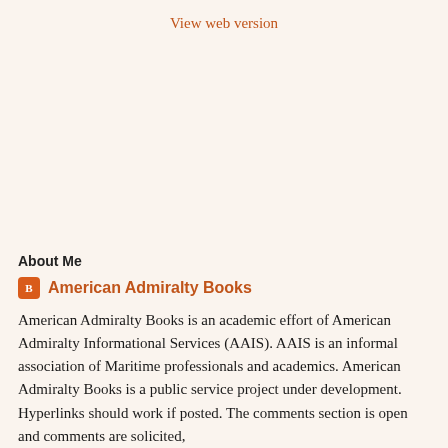View web version
About Me
American Admiralty Books
American Admiralty Books is an academic effort of American Admiralty Informational Services (AAIS). AAIS is an informal association of Maritime professionals and academics. American Admiralty Books is a public service project under development. Hyperlinks should work if posted. The comments section is open and comments are solicited,